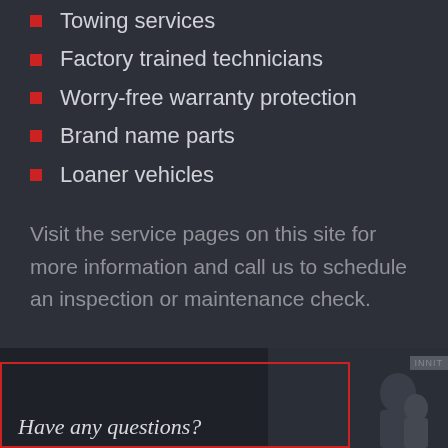Towing services
Factory trained technicians
Worry-free warranty protection
Brand name parts
Loaner vehicles
Visit the service pages on this site for more information and call us to schedule an inspection or maintenance check.
[Figure (photo): Dark background section at the bottom with a red-bordered box containing italic text 'Have any questions?' and a partial silhouette of a person on the right side]